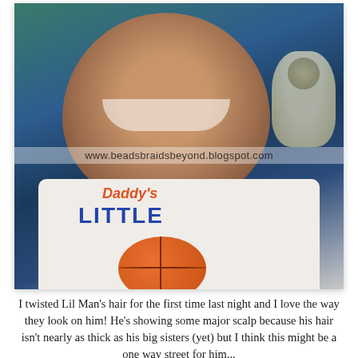[Figure (photo): A smiling toddler wearing a 'Daddy's Little' basketball themed onesie, with a Buzz Lightyear toy in the background. A watermark reads www.beadsbraidsbeyond.blogspot.com.]
I twisted Lil Man's hair for the first time last night and I love the way they look on him! He's showing some major scalp because his hair isn't nearly as thick as his big sisters (yet) but I think this might be a one way street for him...